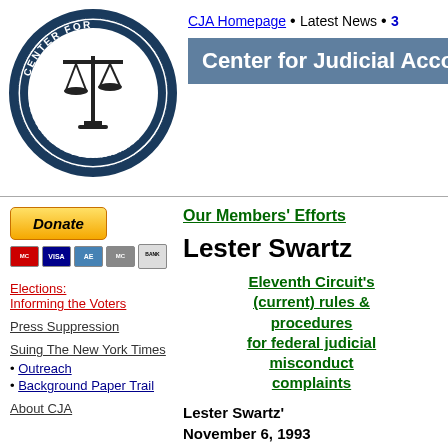[Figure (logo): Center for Judicial Accountability circular logo with scales of justice]
CJA Homepage • Latest News • [truncated]
Center for Judicial Acco[untability]
[Figure (illustration): Donate button with payment card icons (MasterCard, Visa, AmEx, etc.)]
Elections: Informing the Voters
Press Suppression
Suing The New York Times
• Outreach
• Background Paper Trail
About CJA
Our Members' Efforts
Lester Swartz
Eleventh Circuit's (current) rules & procedures for federal judicial misconduct complaints
Lester Swartz' November 6, 1993